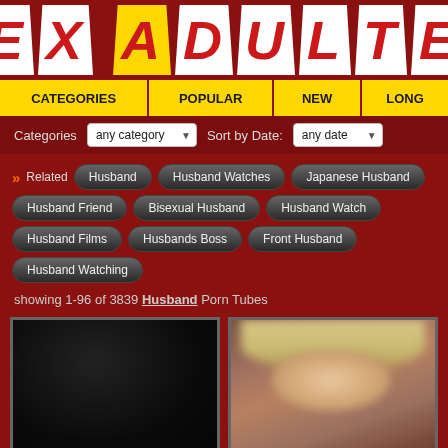SEX ADULTER
CATEGORIES | POPULAR | NEW | LONG
Categories: any category   Sort by Date: any date
Related: Husband, Husband Watches, Japanese Husband, Husband Friend, Bisexual Husband, Husband Watch, Husband Films, Husbands Boss, Front Husband, Husband Watching
showing 1-96 of 3839 Husband Porn Tubes
[Figure (photo): Dark thumbnail image of video]
[Figure (photo): Blurred face thumbnail image of video]